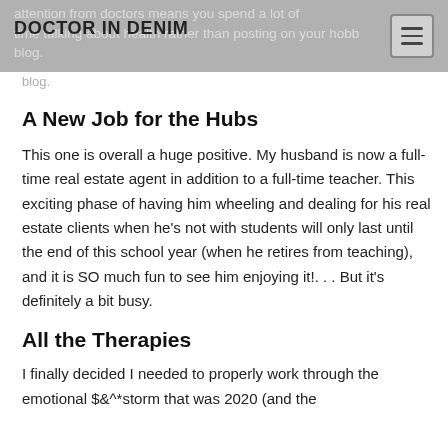DOCTOR IN DENIM
attention from doctors means you spend a lot of time talking about health rather than posting on your hobby blog.
A New Job for the Hubs
This one is overall a huge positive. My husband is now a full-time real estate agent in addition to a full-time teacher. This exciting phase of having him wheeling and dealing for his real estate clients when he’s not with students will only last until the end of this school year (when he retires from teaching), and it is SO much fun to see him enjoying it!. . . But it’s definitely a bit busy.
All the Therapies
I finally decided I needed to properly work through the emotional $&^*storm that was 2020 (and the